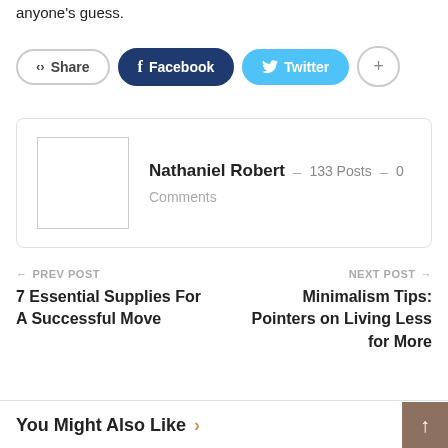anyone's guess.
Share  Facebook  Twitter  +
Nathaniel Robert  –  133 Posts  –  0 Comments
← PREV POST
7 Essential Supplies For A Successful Move
NEXT POST →
Minimalism Tips: Pointers on Living Less for More
You Might Also Like >  All